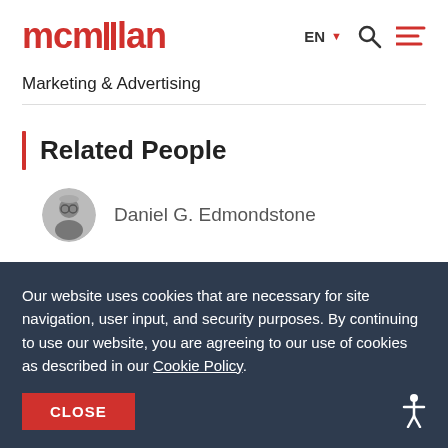mcmillan
Marketing & Advertising
Related People
Daniel G. Edmondstone
Our website uses cookies that are necessary for site navigation, user input, and security purposes. By continuing to use our website, you are agreeing to our use of cookies as described in our Cookie Policy.
CLOSE